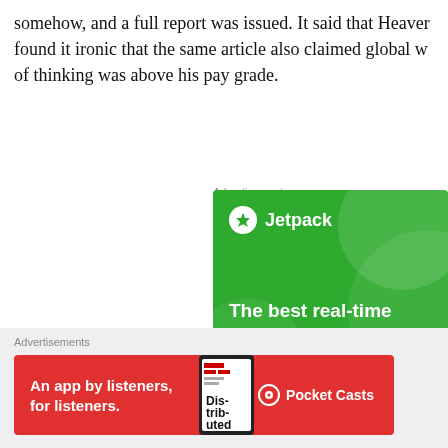somehow, and a full report was issued. It said that Heaven found it ironic that the same article also claimed global w of thinking was above his pay grade.
Advertisements
[Figure (illustration): Jetpack plugin advertisement on green background with logo, tagline 'The best real-time WordPress backup plugin', and 'Back up your site' button]
[Figure (illustration): Close/dismiss button (X in circle)]
Advertisements
[Figure (illustration): Pocket Casts advertisement on red background with text 'An app by listeners, for listeners.' and Pocket Casts logo]